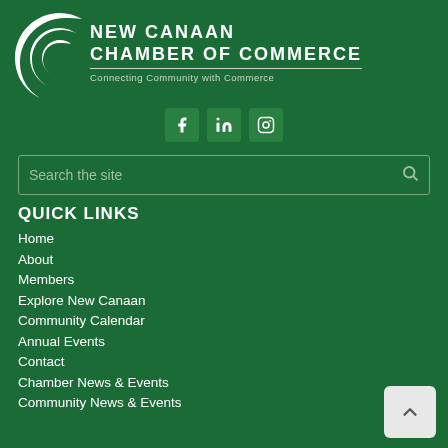[Figure (logo): New Canaan Chamber of Commerce logo with crescent moon shape and text 'CHAMBER OF COMMERCE / Connecting Community with Commerce']
[Figure (infographic): Social media icons: Facebook (f), LinkedIn (in), Instagram (camera) — three green square buttons]
Search the site
QUICK LINKS
Home
About
Members
Explore New Canaan
Community Calendar
Annual Events
Contact
Chamber News & Events
Community News & Events